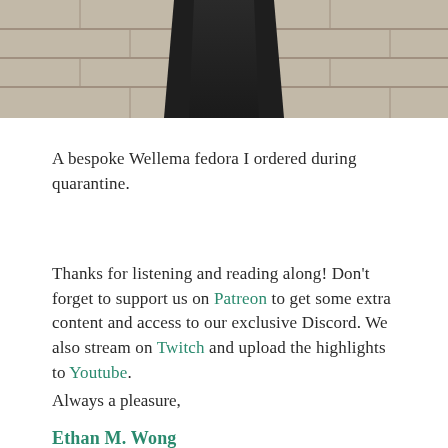[Figure (photo): Cropped photo of a person in dark pants standing against a light brick/stone wall, only the lower body visible]
A bespoke Wellema fedora I ordered during quarantine.
Thanks for listening and reading along! Don't forget to support us on Patreon to get some extra content and access to our exclusive Discord. We also stream on Twitch and upload the highlights to Youtube.
Always a pleasure,
Ethan M. Wong